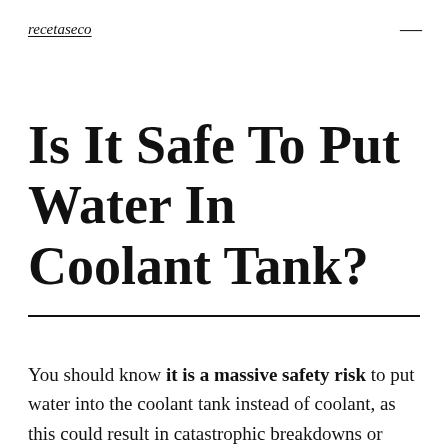recetaseco
Is It Safe To Put Water In Coolant Tank?
You should know it is a massive safety risk to put water into the coolant tank instead of coolant, as this could result in catastrophic breakdowns or